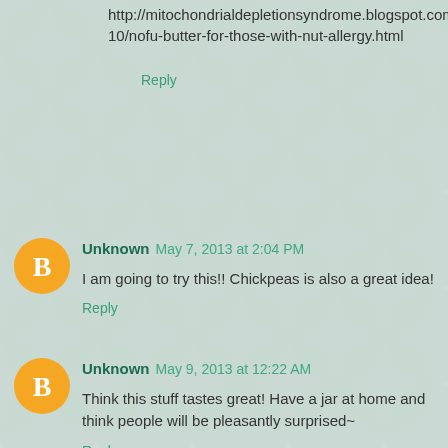http://mitochondrialdepletionsyndrome.blogspot.com/2012/10/nofu-butter-for-those-with-nut-allergy.html
Reply
Unknown  May 7, 2013 at 2:04 PM
I am going to try this!! Chickpeas is also a great idea!
Reply
Unknown  May 9, 2013 at 12:22 AM
Think this stuff tastes great! Have a jar at home and think people will be pleasantly surprised~
Reply